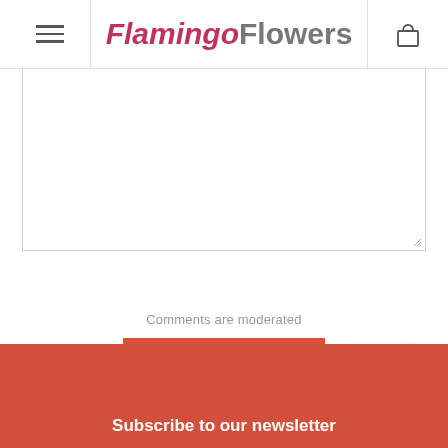FlamingoFlowers
[Figure (screenshot): Empty textarea input field for comment submission]
Comments are moderated
POST MY COMMENT
Subscribe to our newsletter